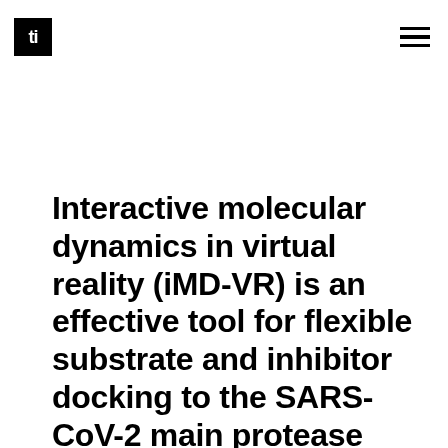ti ≡
Interactive molecular dynamics in virtual reality (iMD-VR) is an effective tool for flexible substrate and inhibitor docking to the SARS-CoV-2 main protease